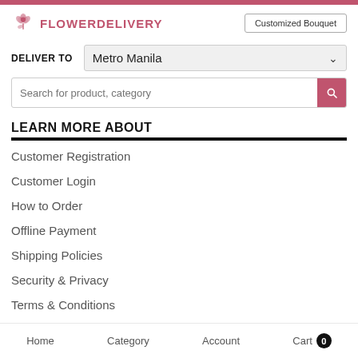FLOWERDELIVERY
Customized Bouquet
DELIVER TO  Metro Manila
Search for product, category
LEARN MORE ABOUT
Customer Registration
Customer Login
How to Order
Offline Payment
Shipping Policies
Security & Privacy
Terms & Conditions
Home   Category   Account   Cart 0